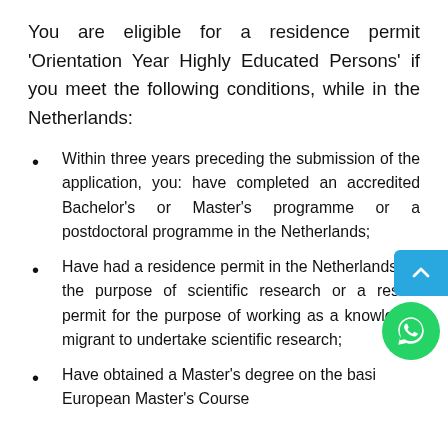You are eligible for a residence permit 'Orientation Year Highly Educated Persons' if you meet the following conditions, while in the Netherlands:
Within three years preceding the submission of the application, you: have completed an accredited Bachelor's or Master's programme or a postdoctoral programme in the Netherlands;
Have had a residence permit in the Netherlands for the purpose of scientific research or a residence permit for the purpose of working as a knowledge migrant to undertake scientific research;
Have obtained a Master's degree on the basis of a European Master's Course